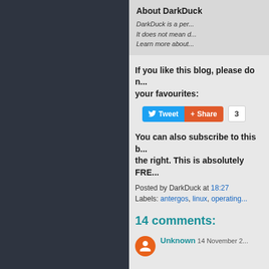About DarkDuck
DarkDuck is a per...
It does not mean d...
Learn more about...
If you like this blog, please do n... your favourites:
[Figure (other): Tweet and Share social media buttons with count 3]
You can also subscribe to this ... the right. This is absolutely FR...
Posted by DarkDuck at 18:27
Labels: antergos, linux, operating...
14 comments:
Unknown  14 November 2...